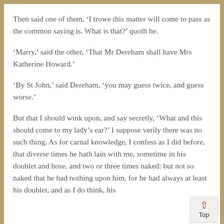Then said one of them, ‘I trowe this matter will come to pass as the common saying is. What is that?’ quoth he.
‘Marry,’ said the other, ‘That Mr Dereham shall have Mrs Katherine Howard.’
‘By St John,’ said Dereham, ‘you may guess twice, and guess worse.’
But that I should wink upon, and say secretly, ‘What and this should come to my lady’s ear?’ I suppose verily there was no such thing. As for carnal knowledge, I confess as I did before, that diverse times he hath lain with me, sometime in his doublet and hose, and two or three times naked: but not so naked that he had nothing upon him, for he had always at least his doublet, and as I do think, his